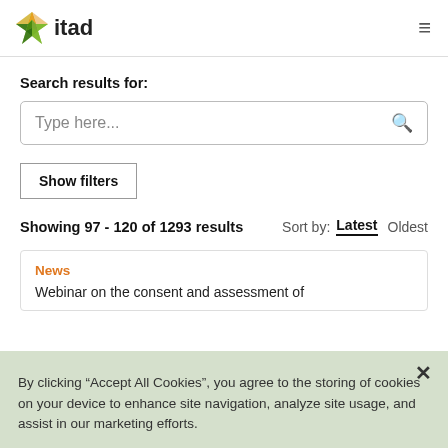itad
Search results for:
Type here...
Show filters
Showing 97 - 120 of 1293 results   Sort by:  Latest  Oldest
News
Webinar on the consent and assessment of
By clicking “Accept All Cookies”, you agree to the storing of cookies on your device to enhance site navigation, analyze site usage, and assist in our marketing efforts.